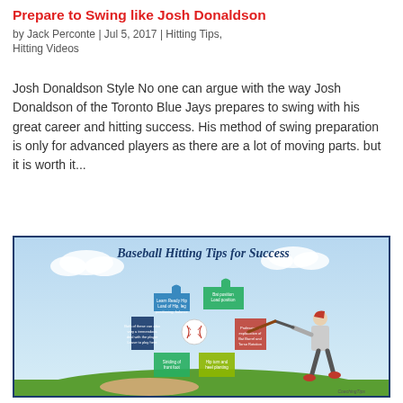Prepare to Swing like Josh Donaldson
by Jack Perconte | Jul 5, 2017 | Hitting Tips, Hitting Videos
Josh Donaldson Style No one can argue with the way Josh Donaldson of the Toronto Blue Jays prepares to swing with his great career and hitting success. His method of swing preparation is only for advanced players as there are a lot of moving parts. but it is worth it...
[Figure (infographic): Baseball Hitting Tips for Success infographic showing a baseball player swinging, with colorful puzzle pieces radiating from a central baseball, each containing hitting tips text, set against a sky background with clouds and grass.]